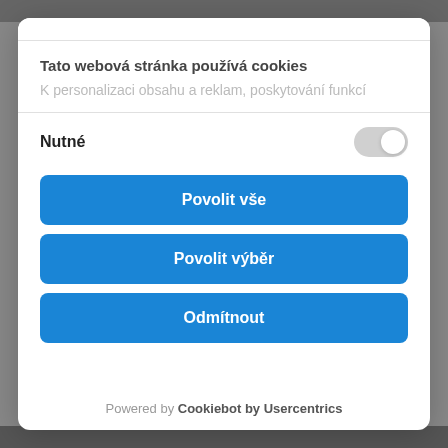Tato webová stránka používá cookies
K personalizaci obsahu a reklam, poskytování funkcí
Nutné
Povolit vše
Povolit výběr
Odmítnout
Powered by Cookiebot by Usercentrics